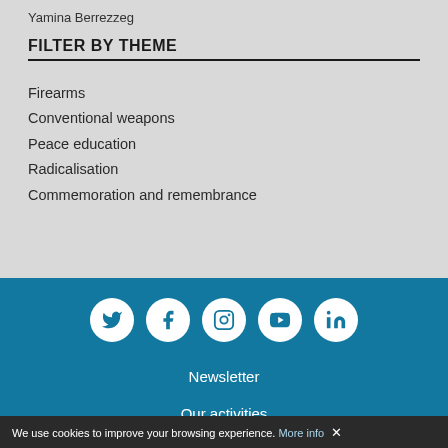Yamina Berrezzeg
FILTER BY THEME
Firearms
Conventional weapons
Peace education
Radicalisation
Commemoration and remembrance
[Figure (infographic): Social media icons: Twitter, Facebook, Instagram, YouTube, LinkedIn — white circles on teal background]
Newsletter
Our activities
Flemish Parliament
We use cookies to improve your browsing experience. More info ✕